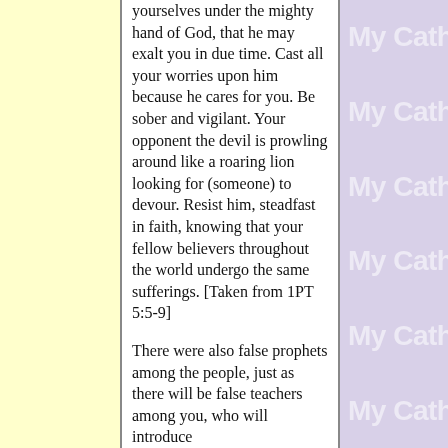yourselves under the mighty hand of God, that he may exalt you in due time. Cast all your worries upon him because he cares for you. Be sober and vigilant. Your opponent the devil is prowling around like a roaring lion looking for (someone) to devour. Resist him, steadfast in faith, knowing that your fellow believers throughout the world undergo the same sufferings. [Taken from 1PT 5:5-9]

There were also false prophets among the people, just as there will be false teachers among you, who will introduce